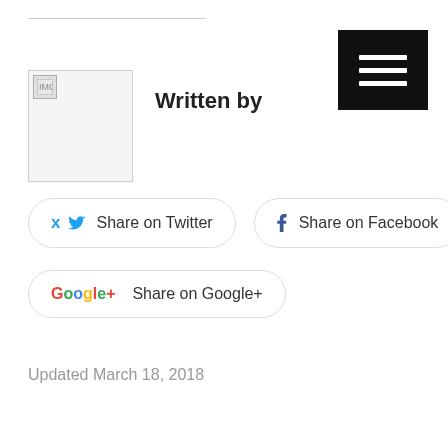[Figure (other): Broken/placeholder image thumbnail in author section]
Written by
Share on Twitter
Share on Facebook
Share on Google+
Updated March 18, 2018